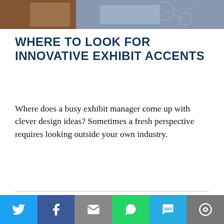[Figure (photo): Partial top photo strip showing leather wallet/card holder and tech device on the right, brown and blue-grey tones]
WHERE TO LOOK FOR INNOVATIVE EXHIBIT ACCENTS
Where does a busy exhibit manager come up with clever design ideas? Sometimes a fresh perspective requires looking outside your own industry.
Deanna Sealey – September 22, 2017
ACCEPT   We use cookies to personalize our web content and analyze our traffic. We share this information with Skyline dealers who may combine it with information you provided them
[Figure (infographic): Social sharing bar with Twitter, Facebook, Email, WhatsApp, SMS, and More buttons]